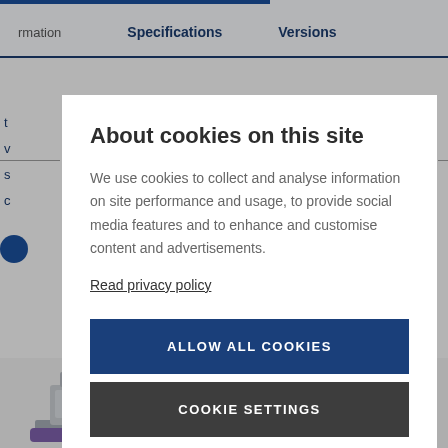rmation    Specifications    Versions
About cookies on this site
We use cookies to collect and analyse information on site performance and usage, to provide social media features and to enhance and customise content and advertisements.
Read privacy policy
ALLOW ALL COOKIES
COOKIE SETTINGS
[Figure (photo): Three industrial food processing/slicing machines shown at the bottom of the page behind the modal overlay]